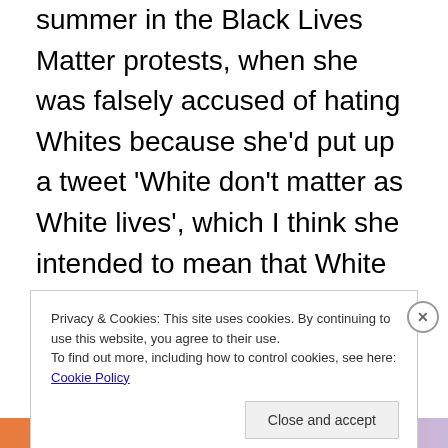summer in the Black Lives Matter protests, when she was falsely accused of hating Whites because she'd put up a tweet 'White don't matter as White lives', which I think she intended to mean that White lives have no more or less intrinsic value than anyone else's. Their value lay simply in being human lives. This was in response to an enraged White chap flying over a local football match on a
Privacy & Cookies: This site uses cookies. By continuing to use this website, you agree to their use. To find out more, including how to control cookies, see here: Cookie Policy